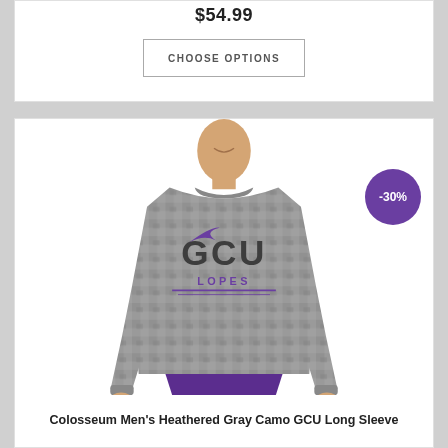$54.99
CHOOSE OPTIONS
[Figure (photo): Man wearing a heathered gray camo GCU long sleeve shirt with purple GCU Lopes logo, paired with purple shorts. A purple circular badge showing -30% discount is in the upper right corner of the product card.]
Colosseum Men's Heathered Gray Camo GCU Long Sleeve